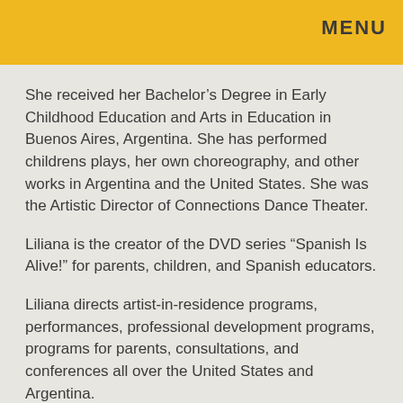MENU
She received her Bachelor’s Degree in Early Childhood Education and Arts in Education in Buenos Aires, Argentina. She has performed childrens plays, her own choreography, and other works in Argentina and the United States. She was the Artistic Director of Connections Dance Theater.
Liliana is the creator of the DVD series “Spanish Is Alive!” for parents, children, and Spanish educators.
Liliana directs artist-in-residence programs, performances, professional development programs, programs for parents, consultations, and conferences all over the United States and Argentina.